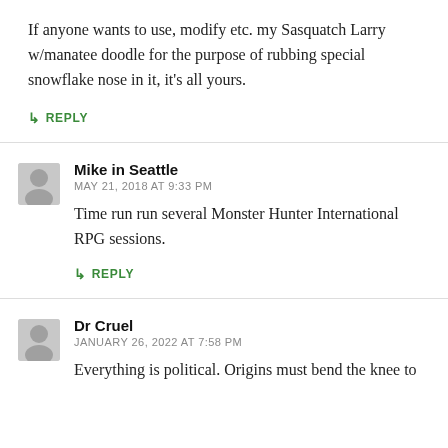If anyone wants to use, modify etc. my Sasquatch Larry w/manatee doodle for the purpose of rubbing special snowflake nose in it, it's all yours.
↳ REPLY
Mike in Seattle
MAY 21, 2018 AT 9:33 PM
Time run run several Monster Hunter International RPG sessions.
↳ REPLY
Dr Cruel
JANUARY 26, 2022 AT 7:58 PM
Everything is political. Origins must bend the knee to